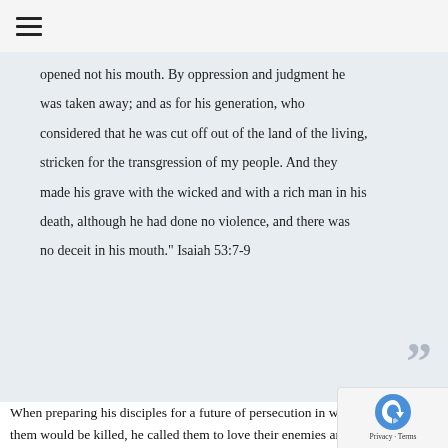≡
opened not his mouth. By oppression and judgment he was taken away; and as for his generation, who considered that he was cut off out of the land of the living, stricken for the transgression of my people. And they made his grave with the wicked and with a rich man in his death, although he had done no violence, and there was no deceit in his mouth." Isaiah 53:7-9
When preparing his disciples for a future of persecution in which many of them would be killed, he called them to love their enemies and to turn the other cheek. And then, when he himself was being attacked he did not fight back at all. In fact, he went as a sheep before the slaughter. And it was a slaughter...